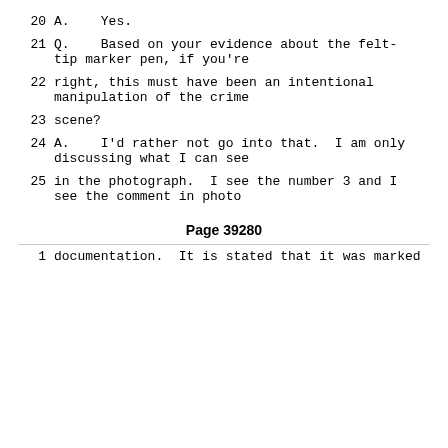20    A.    Yes.
21    Q.    Based on your evidence about the felt-tip marker pen, if you're
22    right, this must have been an intentional manipulation of the crime
23    scene?
24    A.    I'd rather not go into that.  I am only discussing what I can see
25    in the photograph.  I see the number 3 and I see the comment in photo
Page 39280
1     documentation.  It is stated that it was marked